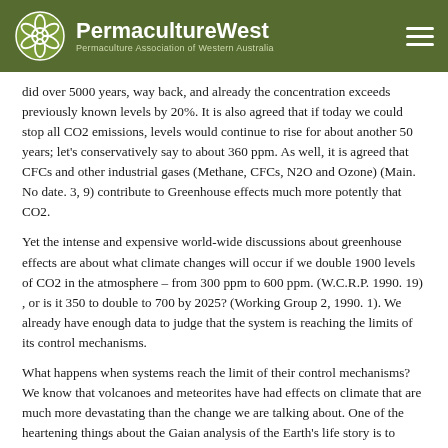PermacultureWest — Permaculture Association of Western Australia
did over 5000 years, way back, and already the concentration exceeds previously known levels by 20%. It is also agreed that if today we could stop all CO2 emissions, levels would continue to rise for about another 50 years; let's conservatively say to about 360 ppm. As well, it is agreed that CFCs and other industrial gases (Methane, CFCs, N2O and Ozone) (Main. No date. 3, 9) contribute to Greenhouse effects much more potently that CO2.
Yet the intense and expensive world-wide discussions about greenhouse effects are about what climate changes will occur if we double 1900 levels of CO2 in the atmosphere – from 300 ppm to 600 ppm. (W.C.R.P. 1990. 19) , or is it 350 to double to 700 by 2025? (Working Group 2, 1990. 1). We already have enough data to judge that the system is reaching the limits of its control mechanisms.
What happens when systems reach the limit of their control mechanisms? We know that volcanoes and meteorites have had effects on climate that are much more devastating than the change we are talking about. One of the heartening things about the Gaian analysis of the Earth's life story is to discover that the